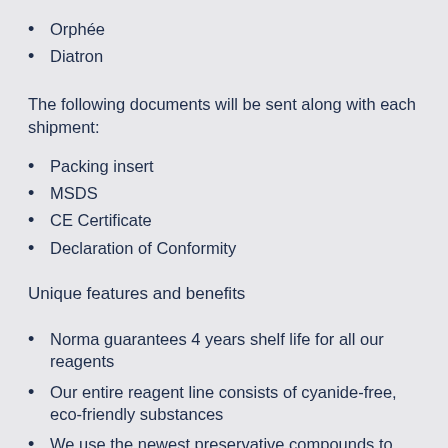Orphée
Diatron
The following documents will be sent along with each shipment:
Packing insert
MSDS
CE Certificate
Declaration of Conformity
Unique features and benefits
Norma guarantees 4 years shelf life for all our reagents
Our entire reagent line consists of cyanide-free, eco-friendly substances
We use the newest preservative compounds to prevent microbial